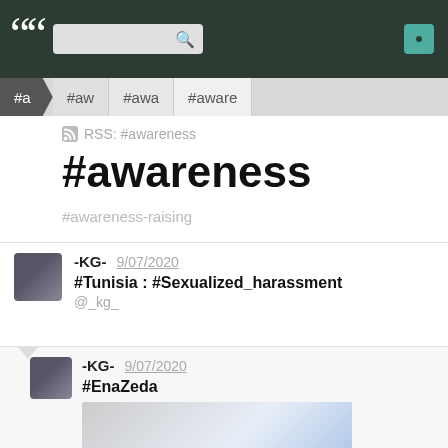[Figure (screenshot): Top navigation bar with quote icon, search box, and teal button on dark green background]
#a  #aw  #awa  #aware
RSS: #awareness
#awareness
#awareness-raising
-KG-  9/07/2020
#Tunisia : #Sexualized_harassment
@_kg_
-KG-  9/07/2020
#EnaZeda